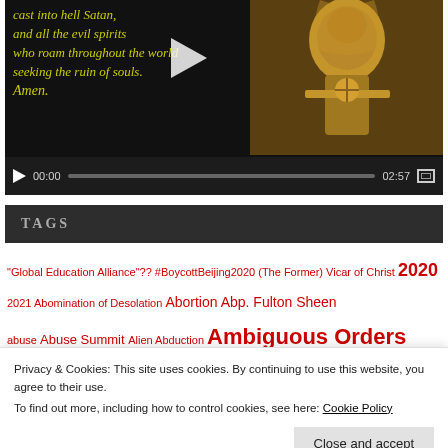[Figure (screenshot): Embedded video player showing prayer text in yellow-green italic font on dark background with a golden statue on the right. Text reads: 'cast into hell Satan, and all the evil spirits who roam throughout the world seeking the ruin of souls. Amen.' Controls show 00:00 / 02:57 with play button and progress bar.]
TAGS
"Global Education Alliance"?? #BoycottBeijing2020 (The Former) Vicar of Christ 2020 2021 Abomination of Desolation Abortion Abp. Fulton Sheen abuse Abuse Summit Alien Abduction Ambiguous Orders America in ...
Privacy & Cookies: This site uses cookies. By continuing to use this website, you agree to their use.
To find out more, including how to control cookies, see here: Cookie Policy
[Close and accept]
Cardinal Mueller Caritas Internationalis Catholic Alarmists Catholic Haiku